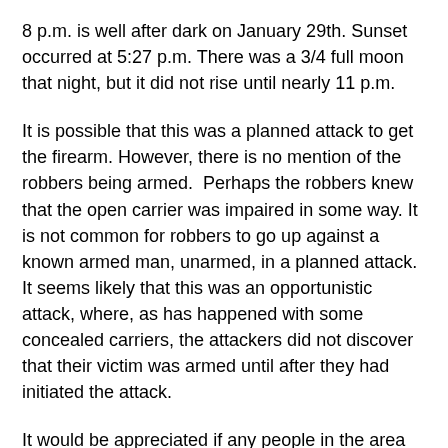8 p.m. is well after dark on January 29th. Sunset occurred at 5:27 p.m. There was a 3/4 full moon that night, but it did not rise until nearly 11 p.m.
It is possible that this was a planned attack to get the firearm. However, there is no mention of the robbers being armed.  Perhaps the robbers knew that the open carrier was impaired in some way. It is not common for robbers to go up against a known armed man, unarmed, in a planned attack. It seems likely that this was an opportunistic attack, where, as has happened with some concealed carriers, the attackers did not discover that their victim was armed until after they had initiated the attack.
It would be appreciated if any people in the area could describe how well lit that area of Jefferson avenue is after dark at this time of year.